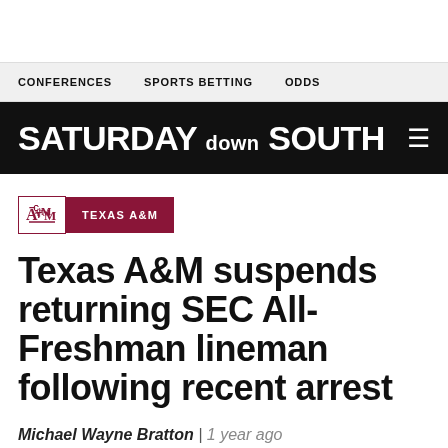CONFERENCES   SPORTS BETTING   ODDS
SATURDAY DOWN SOUTH
TEXAS A&M
Texas A&M suspends returning SEC All-Freshman lineman following recent arrest
Michael Wayne Bratton | 1 year ago